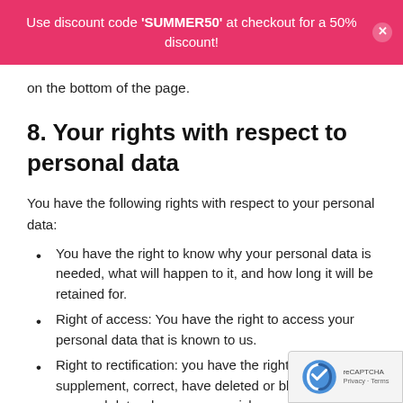Use discount code 'SUMMER50' at checkout for a 50% discount!
on the bottom of the page.
8. Your rights with respect to personal data
You have the following rights with respect to your personal data:
You have the right to know why your personal data is needed, what will happen to it, and how long it will be retained for.
Right of access: You have the right to access your personal data that is known to us.
Right to rectification: you have the right to supplement, correct, have deleted or blocked your personal data whenever you wish.
If you give us your consent to process your data, you have the right to revoke that consent and to have your personal data deleted.